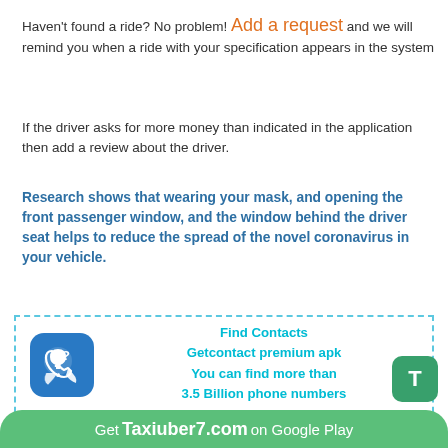Haven't found a ride? No problem! Add a request and we will remind you when a ride with your specification appears in the system
If the driver asks for more money than indicated in the application then add a review about the driver.
Research shows that wearing your mask, and opening the front passenger window, and the window behind the driver seat helps to reduce the spread of the novel coronavirus in your vehicle.
[Figure (infographic): Advertisement box with dashed blue border. Contains a blue rounded-square phone/question-mark icon on the left and bold cyan text: 'Find Contacts / Getcontact premium apk / You can find more than / 3.5 Billion phone numbers']
Taxiuber7.com
T
Get Taxiuber7.com on Google Play